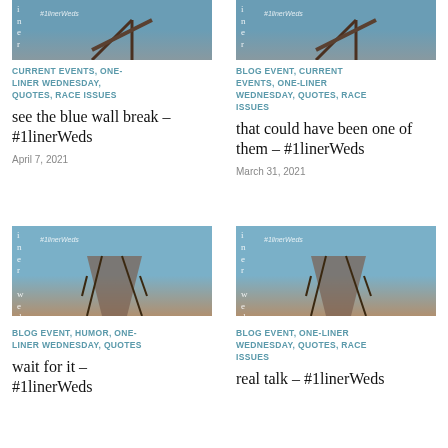[Figure (photo): Cropped top portion of dock/pier image]
CURRENT EVENTS, ONE-LINER WEDNESDAY, QUOTES, RACE ISSUES
see the blue wall break – #1linerWeds
April 7, 2021
[Figure (photo): Cropped top portion of dock/pier image]
BLOG EVENT, CURRENT EVENTS, ONE-LINER WEDNESDAY, QUOTES, RACE ISSUES
that could have been one of them – #1linerWeds
March 31, 2021
[Figure (photo): Dock/pier extending over water with #1linerWeds tag]
BLOG EVENT, HUMOR, ONE-LINER WEDNESDAY, QUOTES
wait for it – #1linerWeds
[Figure (photo): Dock/pier extending over water with #1linerWeds tag]
BLOG EVENT, ONE-LINER WEDNESDAY, QUOTES, RACE ISSUES
real talk – #1linerWeds